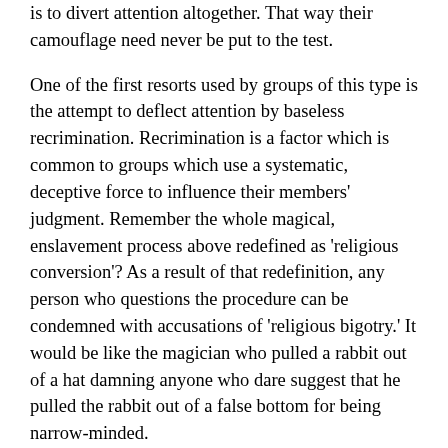is to divert attention altogether. That way their camouflage need never be put to the test.
One of the first resorts used by groups of this type is the attempt to deflect attention by baseless recrimination. Recrimination is a factor which is common to groups which use a systematic, deceptive force to influence their members' judgment. Remember the whole magical, enslavement process above redefined as 'religious conversion'? As a result of that redefinition, any person who questions the procedure can be condemned with accusations of 'religious bigotry.' It would be like the magician who pulled a rabbit out of a hat damning anyone who dare suggest that he pulled the rabbit out of a false bottom for being narrow-minded.
When the issue at hand is avoided and the individual critic is attacked, then that should immediately send up a red flag that something has gone wrong with the process of rational discussion. However, it is only when the evader fails to divert attention altogether that the art of verbal camouflage is employed."
"To grasp the whole idea of camouflage," Swatron got to the point, "think of one of those pictures which has